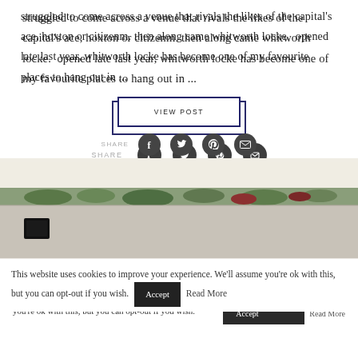struggled to come across a venue that rivals the likes of the capital's ace, hoxton or citizenm. then along came whitworth locke.  opened late last year, whitworth locke has become one of my favourite places to hang out in ...
VIEW POST
SHARE
[Figure (photo): Photo of an interior venue with hanging greenery/plants and decorative elements on a white wall]
This website uses cookies to improve your experience. We'll assume you're ok with this, but you can opt-out if you wish. Accept Read More